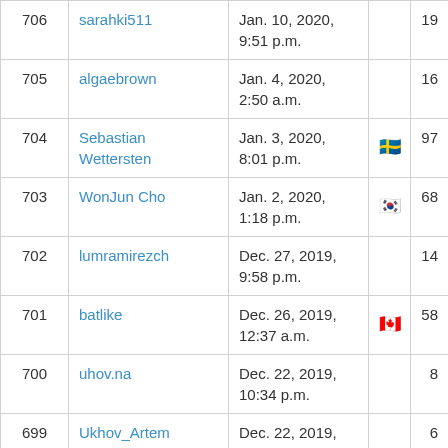| # | Username | Date joined | Country | Score |
| --- | --- | --- | --- | --- |
| 706 | sarahki511 | Jan. 10, 2020, 9:51 p.m. |  | 19 |
| 705 | algaebrown | Jan. 4, 2020, 2:50 a.m. |  | 16 |
| 704 | Sebastian Wettersten | Jan. 3, 2020, 8:01 p.m. | 🇸🇪 | 97 |
| 703 | WonJun Cho | Jan. 2, 2020, 1:18 p.m. | 🇰🇷 | 68 |
| 702 | lumramirezch | Dec. 27, 2019, 9:58 p.m. |  | 14 |
| 701 | batlike | Dec. 26, 2019, 12:37 a.m. | 🇨🇦 | 58 |
| 700 | uhov.na | Dec. 22, 2019, 10:34 p.m. |  | 8 |
| 699 | Ukhov_Artem | Dec. 22, 2019, 9:07 p.m. |  | 6 |
| 698 | nasibullinos | Dec. 22, 2019, 7:16 p.m. |  | 14 |
| 697 | carzil | Dec. 22, 2019, 9:51 a.m. |  | 15 |